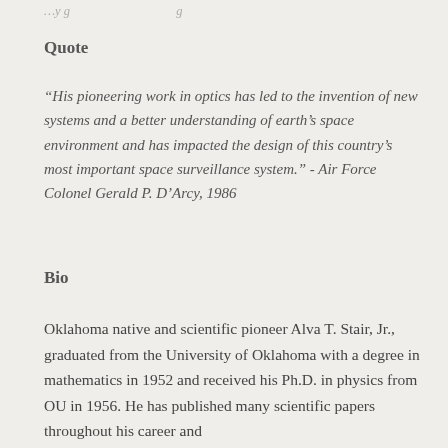…pioneering work in optics…
Quote
“His pioneering work in optics has led to the invention of new systems and a better understanding of earth’s space environment and has impacted the design of this country’s most important space surveillance system.” - Air Force Colonel Gerald P. D'Arcy, 1986
Bio
Oklahoma native and scientific pioneer Alva T. Stair, Jr., graduated from the University of Oklahoma with a degree in mathematics in 1952 and received his Ph.D. in physics from OU in 1956. He has published many scientific papers throughout his career and